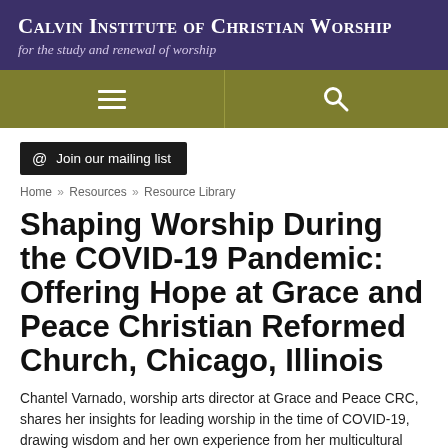Calvin Institute of Christian Worship — for the study and renewal of worship
[Figure (other): Navigation bar with hamburger menu icon and search icon on olive/khaki background]
@ Join our mailing list
Home » Resources » Resource Library
Shaping Worship During the COVID-19 Pandemic: Offering Hope at Grace and Peace Christian Reformed Church, Chicago, Illinois
Chantel Varnado, worship arts director at Grace and Peace CRC, shares her insights for leading worship in the time of COVID-19, drawing wisdom and her own experience from her multicultural